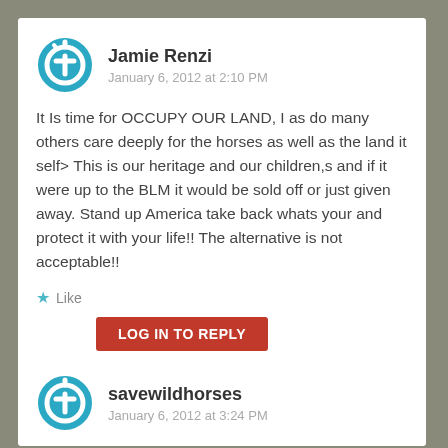Jamie Renzi
January 6, 2012 at 2:10 PM
It Is time for OCCUPY OUR LAND, I as do many others care deeply for the horses as well as the land it self> This is our heritage and our children,s and if it were up to the BLM it would be sold off or just given away. Stand up America take back whats your and protect it with your life!! The alternative is not acceptable!!
Like
LOG IN TO REPLY
savewildhorses
January 6, 2012 at 3:24 PM